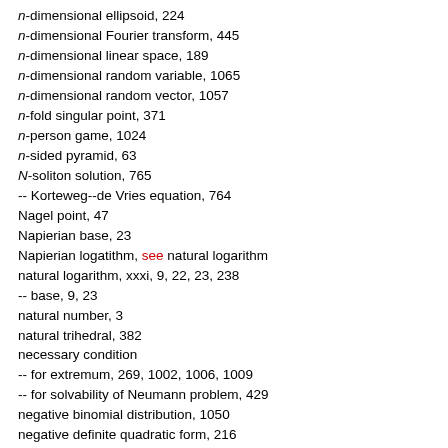n-dimensional ellipsoid, 224
n-dimensional Fourier transform, 445
n-dimensional linear space, 189
n-dimensional random variable, 1065
n-dimensional random vector, 1057
n-fold singular point, 371
n-person game, 1024
n-sided pyramid, 63
N-soliton solution, 765
-- Korteweg--de Vries equation, 764
Nagel point, 47
Napierian base, 23
Napierian logatithm, see natural logarithm
natural logarithm, xxxi, 9, 22, 23, 238
-- base, 9, 23
natural number, 3
natural trihedral, 382
necessary condition
-- for extremum, 269, 1002, 1006, 1009
-- for solvability of Neumann problem, 429
negative binomial distribution, 1050
negative definite quadratic form, 216
negative Hermitian operator, 207
negative index of inertia of quadratic form, 218
negative symmetric operator, 207